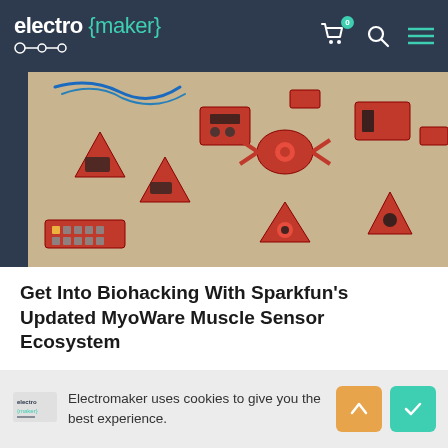electro {maker}
[Figure (photo): Photo of red electronic modules/sensors (MyoWare muscle sensor ecosystem components) arranged on a tan/beige surface, with a dark blue strip on the left edge]
Get Into Biohacking With Sparkfun's Updated MyoWare Muscle Sensor Ecosystem
The new line of products includes muscle sensors, Arduino shields, LED readouts, and more.
By Ian Buckley
Electromaker uses cookies to give you the best experience.